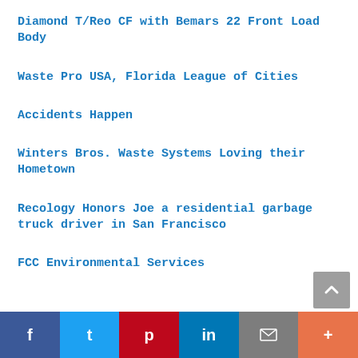Diamond T/Reo CF with Bemars 22 Front Load Body
Waste Pro USA, Florida League of Cities
Accidents Happen
Winters Bros. Waste Systems Loving their Hometown
Recology Honors Joe a residential garbage truck driver in San Francisco
FCC Environmental Services
f  t  p  in  mail  +